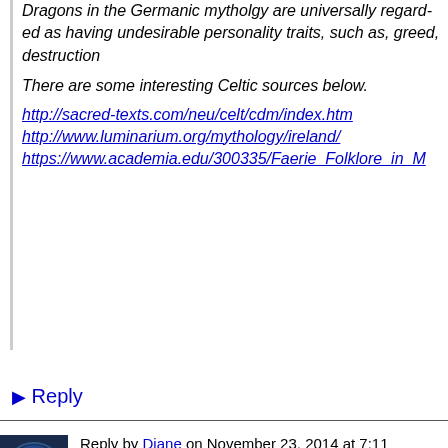Dragons in the Germanic mytholgy are universally regarded as having undesirable personality traits, such as, greed, destruction
There are some interesting Celtic sources below.
http://sacred-texts.com/neu/celt/cdm/index.htm
http://www.luminarium.org/mythology/ireland/
https://www.academia.edu/300335/Faerie_Folklore_in_M
▶ Reply
Reply by Diane on November 23, 2014 at 7:11
No, not all Dragons are bad how they are perceived varies from only speak from the perspective of Germanic mythology. So mythologies of other cultures to see how dragons are portrayed are not generic throughout cultures so beware of generalising appropriate in one culture may be inappropriate in another. R would not honour the dragons from our mythology because values.
Baccara Moon said: